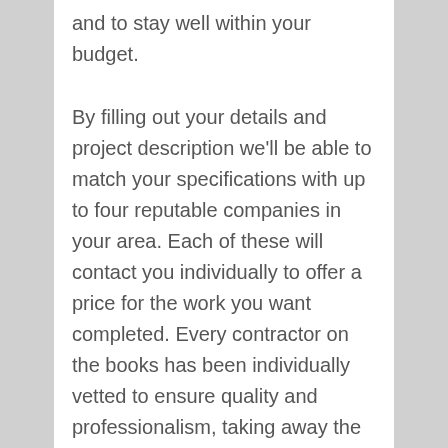and to stay well within your budget.
By filling out your details and project description we'll be able to match your specifications with up to four reputable companies in your area. Each of these will contact you individually to offer a price for the work you want completed. Every contractor on the books has been individually vetted to ensure quality and professionalism, taking away the risks of employing a cowboy or rogue trader. Plus, once you've heard from each of the companies you simply make up your own mind. If one of them has made a lasting impression and you feel comfortable with their offer, take them up on it. If not, you're free to look elsewhere.